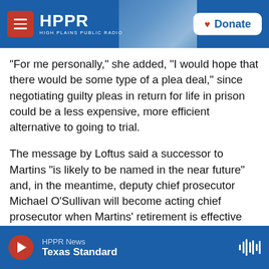HPPR – HIGH PLAINS PUBLIC RADIO | Donate
"For me personally," she added, "I would hope that there would be some type of a plea deal," since negotiating guilty pleas in return for life in prison could be a less expensive, more efficient alternative to going to trial.
The message by Loftus said a successor to Martins "is likely to be named in the near future" and, in the meantime, deputy chief prosecutor Michael O'Sullivan will become acting chief prosecutor when Martins' retirement is effective Sept. 30.
As chief prosecutor of the military commissions,
HPPR News
Texas Standard